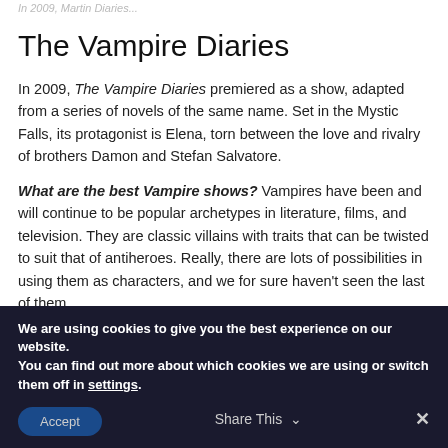In 2009, The Vampire Diaries...
The Vampire Diaries
In 2009, The Vampire Diaries premiered as a show, adapted from a series of novels of the same name. Set in the Mystic Falls, its protagonist is Elena, torn between the love and rivalry of brothers Damon and Stefan Salvatore.
What are the best Vampire shows? Vampires have been and will continue to be popular archetypes in literature, films, and television. They are classic villains with traits that can be twisted to suit that of antiheroes. Really, there are lots of possibilities in using them as characters, and we for sure haven't seen the last of them
We are using cookies to give you the best experience on our website.
You can find out more about which cookies we are using or switch them off in settings.
Accept
Share This ∨
✕